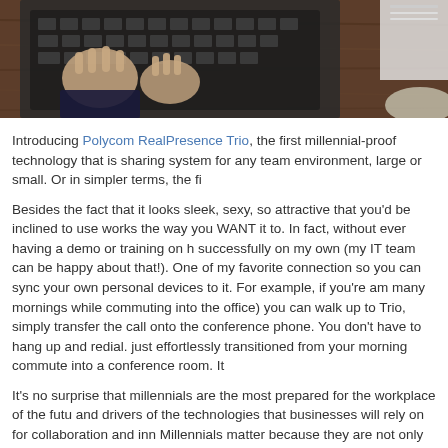[Figure (photo): Overhead view of hands typing on a laptop keyboard on a dark wooden desk, with papers visible at the edge.]
Introducing Polycom RealPresence Trio, the first millennial-proof technology that is sharing system for any team environment, large or small. Or in simpler terms, the fi
Besides the fact that it looks sleek, sexy, so attractive that you'd be inclined to use works the way you WANT it to. In fact, without ever having a demo or training on h successfully on my own (my IT team can be happy about that!). One of my favorite connection so you can sync your own personal devices to it. For example, if you're am many mornings while commuting into the office) you can walk up to Trio, simply transfer the call onto the conference phone. You don't have to hang up and redial. just effortlessly transitioned from your morning commute into a conference room. It
It's no surprise that millennials are the most prepared for the workplace of the futu and drivers of the technologies that businesses will rely on for collaboration and inn Millennials matter because they are not only different from generations who have c more numerous than any since the soon-to-retire Baby Boomer generation, already US and accounting for over half of the population in India. By 2020, millennials will
Millennials' use of technology sets them apart from their predecessors. The most d generation?  Their affinity with the digital world. They have grown up with internet, media as the norm, and expect instant access to information at any time and from a to enter the workplace with a better grasp of a key business tools than more senior